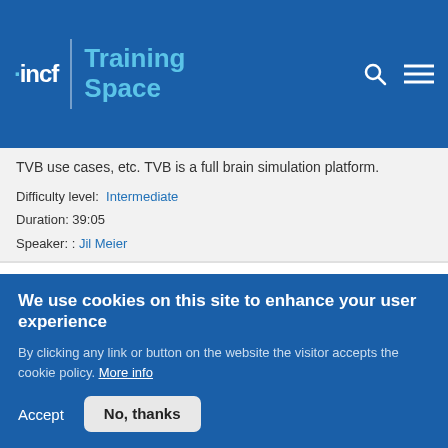incf | Training Space
TVB use cases, etc. TVB is a full brain simulation platform.
Difficulty level: Intermediate
Duration: 39:05
Speaker: : Jil Meier
Generating Virtual Brain ready imaging data
Course: The
[Figure (screenshot): Thumbnail of a course image with text 'aw data to brain network models']
We use cookies on this site to enhance your user experience
By clicking any link or button on the website the visitor accepts the cookie policy. More info
Accept   No, thanks